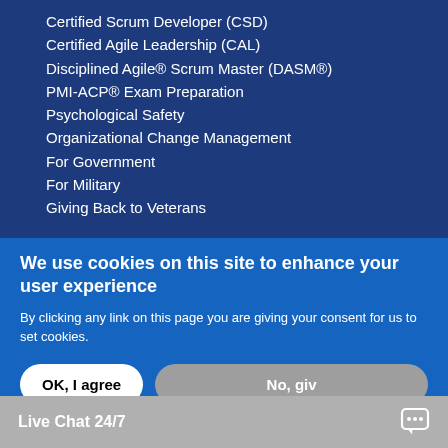Certified Scrum Developer (CSD)
Certified Agile Leadership (CAL)
Disciplined Agile® Scrum Master (DASM®)
PMI-ACP® Exam Preparation
Psychological Safety
Organizational Change Management
For Government
For Military
Giving Back to Veterans
Training Locations
ASIA
Hong Kong
Seoul
Shanghai
Si...
We use cookies on this site to enhance your user experience
By clicking any link on this page you are giving your consent for us to set cookies.
OK, I agree
No, giv...
Live Chat 24/7